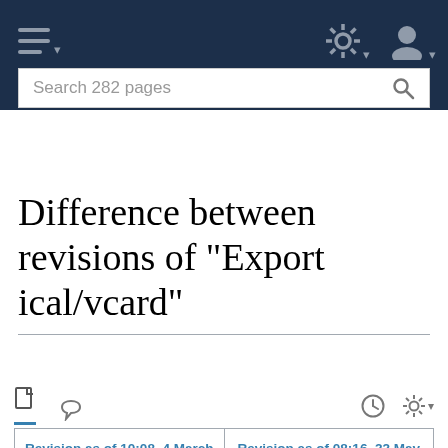Navigation bar with hamburger menu, search (Search 282 pages), gear settings, and user icon
Difference between revisions of "Export ical/vcard"
| Revision as of 10:08, 4 March 2010 (view source) | Revision as of 08:16, 22 May 2013 (view source) |
| --- | --- |
| Dennis Sieben (talk | contribs) | Tierlieb (talk | contribs) (+cat) |
| ← Older edit | Newer edit → |